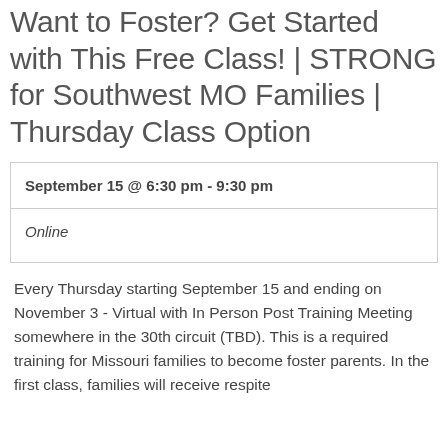Want to Foster? Get Started with This Free Class! | STRONG for Southwest MO Families | Thursday Class Option
| September 15 @ 6:30 pm - 9:30 pm |
| Online |
Every Thursday starting September 15 and ending on November 3 - Virtual with In Person Post Training Meeting somewhere in the 30th circuit (TBD). This is a required training for Missouri families to become foster parents. In the first class, families will receive respite